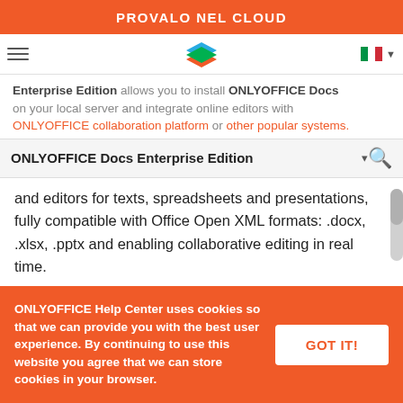PROVALO NEL CLOUD
Enterprise Edition allows you to install ONLYOFFICE Docs on your local server and integrate online editors with ONLYOFFICE collaboration platform or other popular systems.
ONLYOFFICE Docs Enterprise Edition
and editors for texts, spreadsheets and presentations, fully compatible with Office Open XML formats: .docx, .xlsx, .pptx and enabling collaborative editing in real time.
Functionality
Document Editor
Spreadsheet Editor
Presentation Editor
Mobile web viewers
Mobile web editors
Collaborative editing
Hieroglyphs support
Support for all the popular formats: DOC, DOCX, TXT, ODT, RTF, ODP, EPUB, ODS, XLS, XLSX, CSV, PPTX,
ONLYOFFICE Help Center uses cookies so that we can provide you with the best user experience. By continuing to use this website you agree that we can store cookies in your browser.
GOT IT!